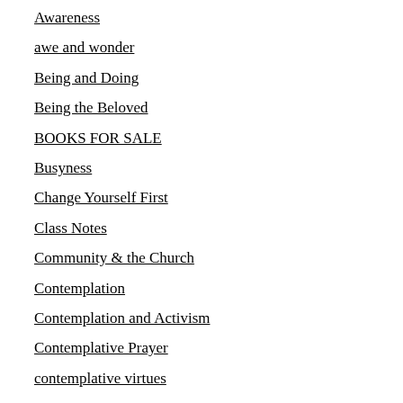Awareness
awe and wonder
Being and Doing
Being the Beloved
BOOKS FOR SALE
Busyness
Change Yourself First
Class Notes
Community & the Church
Contemplation
Contemplation and Activism
Contemplative Prayer
contemplative virtues
coronavirus
Daily Office